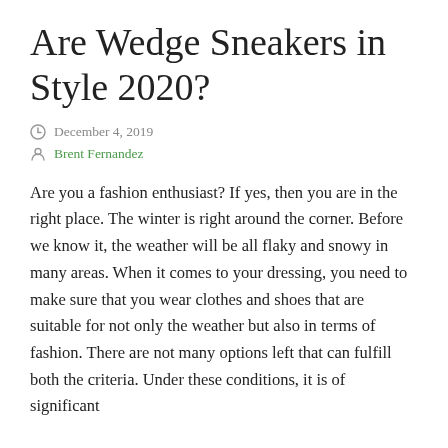Are Wedge Sneakers in Style 2020?
December 4, 2019
Brent Fernandez
Are you a fashion enthusiast? If yes, then you are in the right place. The winter is right around the corner. Before we know it, the weather will be all flaky and snowy in many areas. When it comes to your dressing, you need to make sure that you wear clothes and shoes that are suitable for not only the weather but also in terms of fashion. There are not many options left that can fulfill both the criteria. Under these conditions, it is of significant